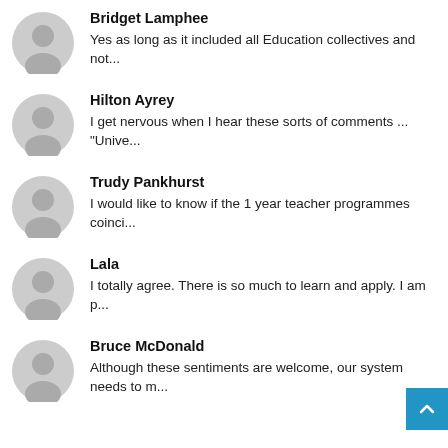Bridget Lamphee
Yes as long as it included all Education collectives and not...
Hilton Ayrey
I get nervous when I hear these sorts of comments ... "Unive...
Trudy Pankhurst
I would like to know if the 1 year teacher programmes coinci...
Lala
I totally agree. There is so much to learn and apply. I am p...
Bruce McDonald
Although these sentiments are welcome, our system needs to m...